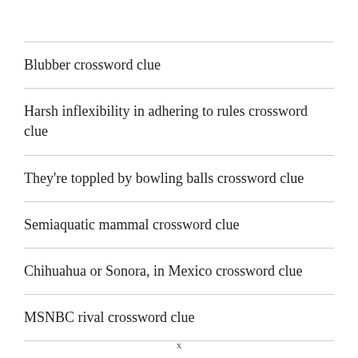Blubber crossword clue
Harsh inflexibility in adhering to rules crossword clue
They're toppled by bowling balls crossword clue
Semiaquatic mammal crossword clue
Chihuahua or Sonora, in Mexico crossword clue
MSNBC rival crossword clue
x